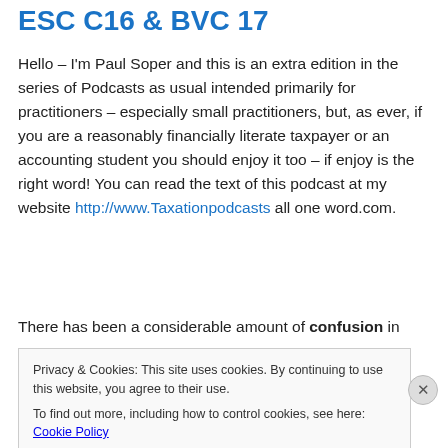ESC C16 & BVC 17
Hello – I'm Paul Soper and this is an extra edition in the series of Podcasts as usual intended primarily for practitioners – especially small practitioners, but, as ever, if you are a reasonably financially literate taxpayer or an accounting student you should enjoy it too – if enjoy is the right word! You can read the text of this podcast at my website http://www.Taxationpodcasts all one word.com.
There has been a considerable amount of confusion in
Privacy & Cookies: This site uses cookies. By continuing to use this website, you agree to their use.
To find out more, including how to control cookies, see here: Cookie Policy
Close and accept